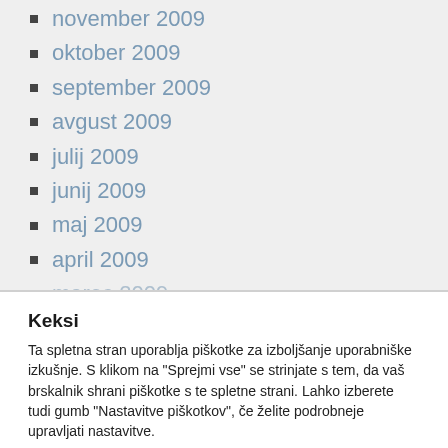november 2009
oktober 2009
september 2009
avgust 2009
julij 2009
junij 2009
maj 2009
april 2009
marec 2009
Keksi
Ta spletna stran uporablja piškotke za izboljšanje uporabniške izkušnje. S klikom na "Sprejmi vse" se strinjate s tem, da vaš brskalnik shrani piškotke s te spletne strani. Lahko izberete tudi gumb "Nastavitve piškotkov", če želite podrobneje upravljati nastavitve.
Nastavitve piškotkov
Sprejmi vse